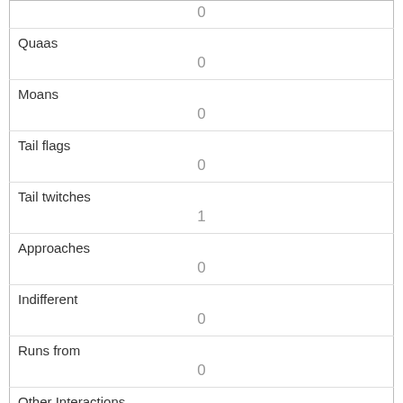| Field | Value |
| --- | --- |
| Quaas | 0 |
| Moans | 0 |
| Tail flags | 0 |
| Tail twitches | 1 |
| Approaches | 0 |
| Indifferent | 0 |
| Runs from | 0 |
| Other Interactions |  |
| Lat/Long | POINT (-73.9671534029191 40.7810849804467) |
| Field |
| --- |
| Link |